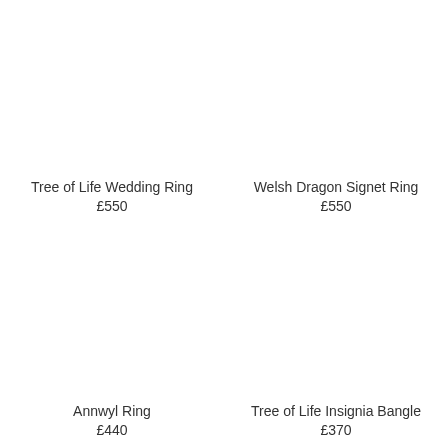Tree of Life Wedding Ring
£550
Welsh Dragon Signet Ring
£550
Annwyl Ring
£440
Tree of Life Insignia Bangle
£370